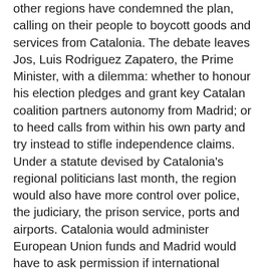other regions have condemned the plan, calling on their people to boycott goods and services from Catalonia. The debate leaves Jos, Luis Rodriguez Zapatero, the Prime Minister, with a dilemma: whether to honour his election pledges and grant key Catalan coalition partners autonomy from Madrid; or to heed calls from within his own party and try instead to stifle independence claims. Under a statute devised by Catalonia's regional politicians last month, the region would also have more control over police, the judiciary, the prison service, ports and airports. Catalonia would administer European Union funds and Madrid would have to ask permission if international issues affected the region".
Holy Ireland: "The crisis in the Irish Catholic Church over sex abuse deepened yesterday as another diocese revealed figures for the number of priests facing allegations. Fifteen priests have been accused of sex abuse over a fifty-year period in the largest Catholic diocese in Northern Ireland, according to figures released by the Diocese of Down and Connor. The figures come on top of the 21 priests identified in an Irish government report published three days ago on the Diocese of Ferns. On Wicklow and the 96 priests facing...